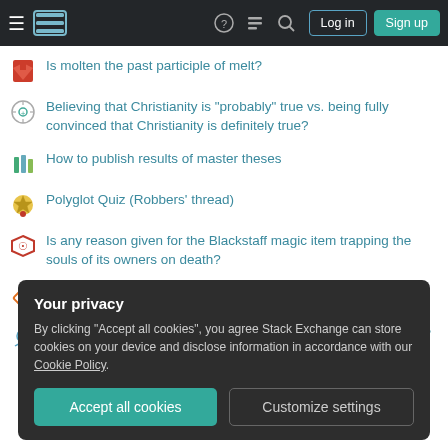Stack Exchange navigation bar with Log in and Sign up buttons
Is molten the past participle of melt?
Believing that Christianity is "probably" true vs. being fully convinced that Christianity is definitely true?
How to publish results of master theses
Polyglot Quiz (Robbers' thread)
Is any reason given for the Blackstaff magic item trapping the souls of its owners on death?
Severance contract requires a lie. Is this enforceable?
How can photons have an electric field without having a charge?
more hot questions
Your privacy
By clicking "Accept all cookies", you agree Stack Exchange can store cookies on your device and disclose information in accordance with our Cookie Policy.
Accept all cookies | Customize settings